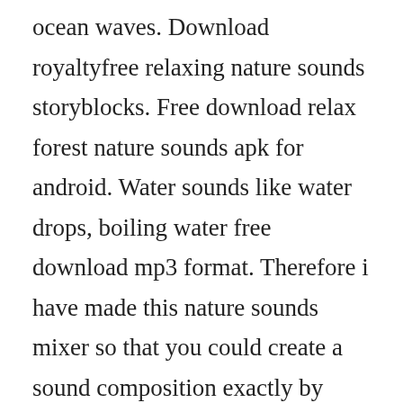ocean waves. Download royaltyfree relaxing nature sounds storyblocks. Free download relax forest nature sounds apk for android. Water sounds like water drops, boiling water free download mp3 format. Therefore i have made this nature sounds mixer so that you could create a sound composition exactly by your liking. Field recording nature sounds sleep meditation mp3 by r. Enchanted forest recorded at dawn, this is a an invigorating ambiance of bird song echoing through ancient trees. Great meditation music, relaxing and soothing music, free streaming